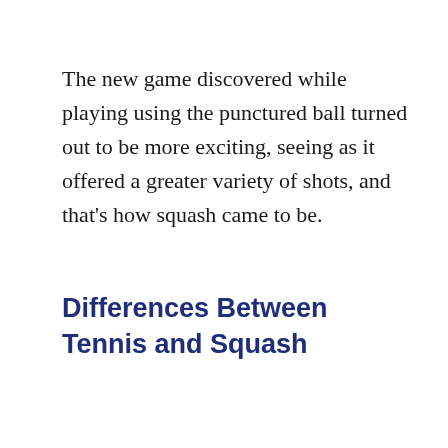The new game discovered while playing using the punctured ball turned out to be more exciting, seeing as it offered a greater variety of shots, and that's how squash came to be.
Differences Between Tennis and Squash